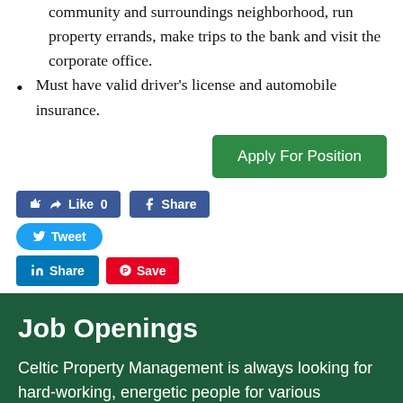community and surroundings neighborhood, run property errands, make trips to the bank and visit the corporate office.
Must have valid driver's license and automobile insurance.
Apply For Position
Like 0  Share  Tweet  Share  Save
Job Openings
Celtic Property Management is always looking for hard-working, energetic people for various